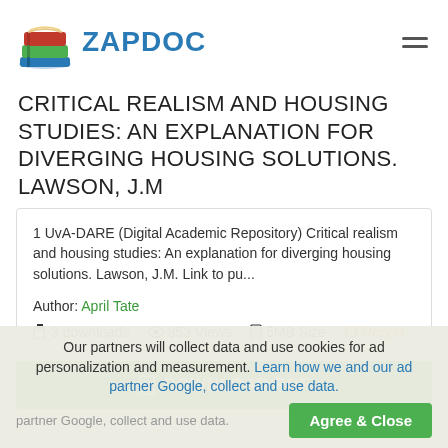[Figure (logo): Zapdoc logo with stacked books icon and blue ZAPDOC text]
CRITICAL REALISM AND HOUSING STUDIES: AN EXPLANATION FOR DIVERGING HOUSING SOLUTIONS. LAWSON, J.M
1 UvA-DARE (Digital Academic Repository) Critical realism and housing studies: An explanation for diverging housing solutions. Lawson, J.M. Link to pu...
Author: April Tate
3 downloads  353 Views  5MB Size  Report
DOWNLOAD PDF
Our partners will collect data and use cookies for ad personalization and measurement. Learn how we and our ad partner Google, collect and use data.
Agree & Close